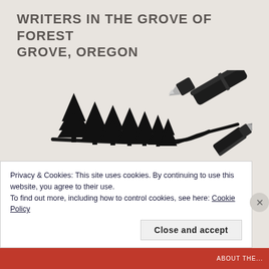WRITERS IN THE GROVE OF FOREST GROVE, OREGON
[Figure (illustration): Silhouette of evergreen trees on the left merging into a fountain pen nib on the right, writing on a light background, black ink illustration on beige/cream background.]
Writers in the Grove meets at the Forest Grove Senior & Community Center in Forest Grove, Oregon, each Monday (save holidays when there is a location change) year around from 9-11AM.
The group also meets on the second Saturday of the month at
Privacy & Cookies: This site uses cookies. By continuing to use this website, you agree to their use.
To find out more, including how to control cookies, see here: Cookie Policy
Close and accept